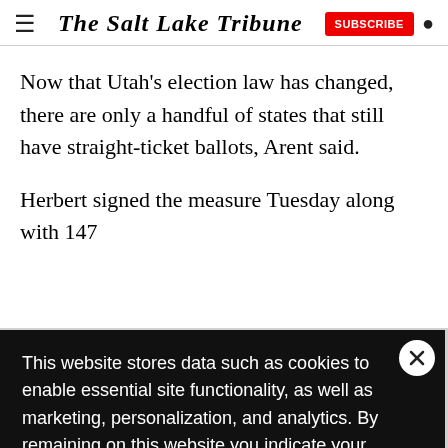The Salt Lake Tribune
Now that Utah’s election law has changed, there are only a handful of states that still have straight-ticket ballots, Arent said.
Herbert signed the measure Tuesday along with 147 … weeks. One … ents to use … ians to buy … 0. Another … elopment
This website stores data such as cookies to enable essential site functionality, as well as marketing, personalization, and analytics. By remaining on this website you indicate your consent.
Data Storage Policy